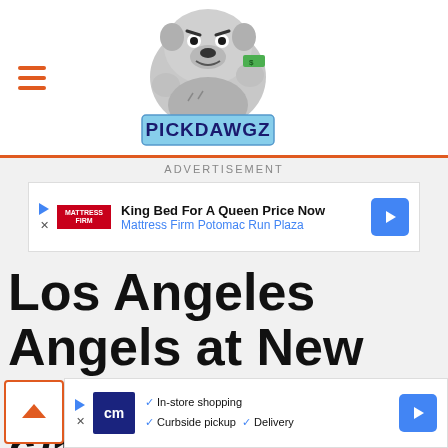[Figure (logo): PickDawgz website logo — cartoon bulldog holding money, with 'PICKDAWGZ' text in blue block letters below]
ADVERTISEMENT
[Figure (screenshot): Ad banner: King Bed For A Queen Price Now — Mattress Firm Potomac Run Plaza]
Los Angeles Angels at New York Yankees - 6/1/22 MLB Picks and
[Figure (screenshot): Ad banner: In-store shopping, Curbside pickup, Delivery — cm logo]